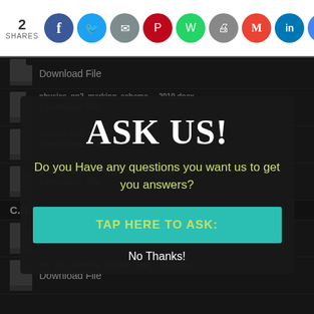2 SHARES — Social share icons: Facebook, Twitter, Email, Pinterest, WhatsApp, Print, Gmail, LinkedIn, Google
[Figure (screenshot): File download list on dark background with file icons showing physics and CRE exam documents]
Download File
physics_pp2_marking_scheme_-_2019.docx
Download File
physics_pp3_district_-_2019.docx
Download File
physics_pp3_marking_scheme_-_2019.docx
Download File
C.R.E (CHRISTIAN RELIGIOUS EDUCATION)
cre_pp1_district_test_-_2019.docx
Download File
cre_pp1_marking_scheme_test_-_2019.docx
Download File
ASK US!
Do you Have any questions you want us to get you answers?
TAP HERE TO ASK:
No Thanks!